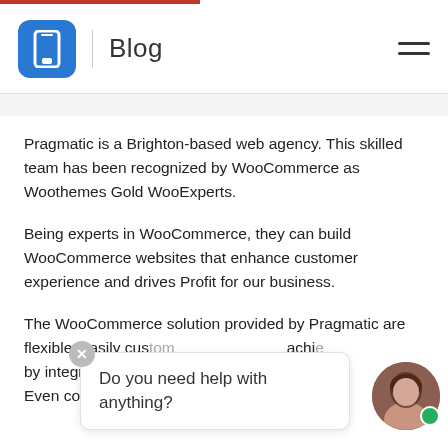Blog
Pragmatic is a Brighton-based web agency. This skilled team has been recognized by WooCommerce as Woothemes Gold WooExperts.
Being experts in WooCommerce, they can build WooCommerce websites that enhance customer experience and drives Profit for our business.
The WooCommerce solution provided by Pragmatic are flexible, easily custom... achi... by integrating the or... eb... Even complex and un... g cus... orders are handled smoothly here...
[Figure (other): Chat widget popup with text 'Do you need help with anything?' and a circular avatar photo of a woman with a green online indicator dot.]